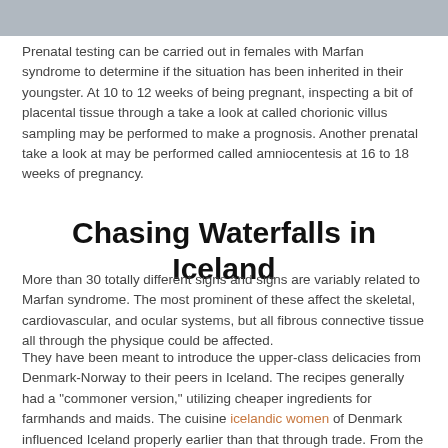[Figure (photo): Partial image strip visible at the top of the page]
Prenatal testing can be carried out in females with Marfan syndrome to determine if the situation has been inherited in their youngster. At 10 to 12 weeks of being pregnant, inspecting a bit of placental tissue through a take a look at called chorionic villus sampling may be performed to make a prognosis. Another prenatal take a look at may be performed called amniocentesis at 16 to 18 weeks of pregnancy.
Chasing Waterfalls in Iceland
More than 30 totally different signs and signs are variably related to Marfan syndrome. The most prominent of these affect the skeletal, cardiovascular, and ocular systems, but all fibrous connective tissue all through the physique could be affected.
They have been meant to introduce the upper-class delicacies from Denmark-Norway to their peers in Iceland. The recipes generally had a "commoner version," utilizing cheaper ingredients for farmhands and maids. The cuisine icelandic women of Denmark influenced Iceland properly earlier than that through trade. From the 14th century, meals was prepared within the kitchen on a raised stone hlóðir or fireside.
Since 2010, evidence has been accumulating that MPL is caused by